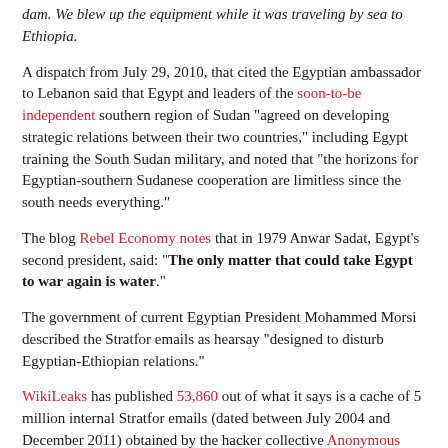dam. We blew up the equipment while it was traveling by sea to Ethiopia.
A dispatch from July 29, 2010, that cited the Egyptian ambassador to Lebanon said that Egypt and leaders of the soon-to-be independent southern region of Sudan "agreed on developing strategic relations between their two countries," including Egypt training the South Sudan military, and noted that "the horizons for Egyptian-southern Sudanese cooperation are limitless since the south needs everything."
The blog Rebel Economy notes that in 1979 Anwar Sadat, Egypt's second president, said: "The only matter that could take Egypt to war again is water."
The government of current Egyptian President Mohammed Morsi described the Stratfor emails as hearsay “designed to disturb Egyptian-Ethiopian relations.”
WikiLeaks has published 53,860 out of what it says is a cache of 5 million internal Stratfor emails (dated between July 2004 and December 2011) obtained by the hacker collective Anonymous around Christmas. Check out our coverage here.